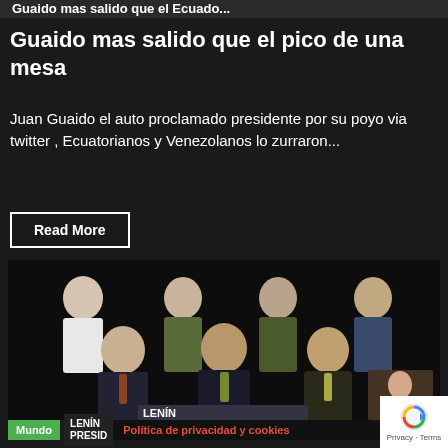Guaido mas salido que el Ecuado...
Guaido mas salido que el pico de una mesa
Juan Guaido el auto proclamado presidente por su poyo via twitter , Ecuatorianos y Venezolanos lo zurraron...
Read More
[Figure (photo): Group photo of men in military uniforms and suits, appearing to be officials at a press conference. Three men seated in front in business suits, four men standing behind in military attire. A podium showing 'LENÍN PRESID...' is visible at the bottom.]
Mundo | LENÍN PRESID... | Política de privacidad y cookies | Privacy · Terms